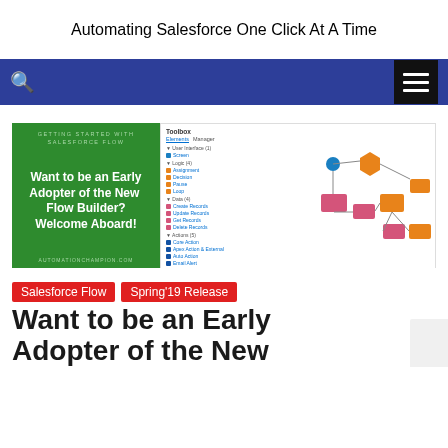Automating Salesforce One Click At A Time
[Figure (screenshot): Website navigation bar with blue background, search icon on left, hamburger menu button (black) on right]
[Figure (screenshot): Featured blog post image: left green panel with 'GETTING STARTED WITH SALESFORCE FLOW' text and headline 'Want to be an Early Adopter of the New Flow Builder? Welcome Aboard!' on green background with automationchampion.com; right panel shows Salesforce Flow Builder UI screenshot with toolbox and flow diagram]
Salesforce Flow
Spring'19 Release
Want to be an Early Adopter of the New